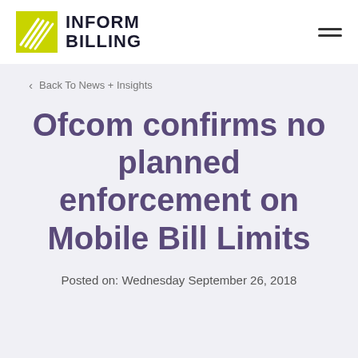INFORM BILLING
Back To News + Insights
Ofcom confirms no planned enforcement on Mobile Bill Limits
Posted on: Wednesday September 26, 2018